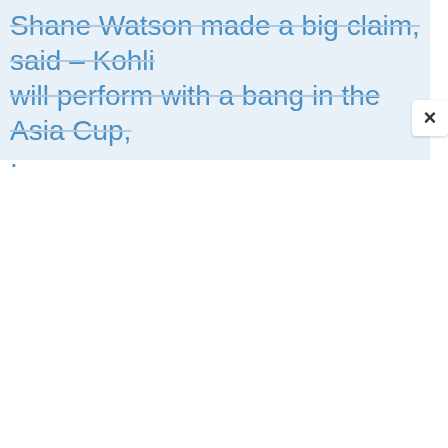Shane Watson made a big claim, said – Kohli will perform with a bang in the Asia Cup,
·